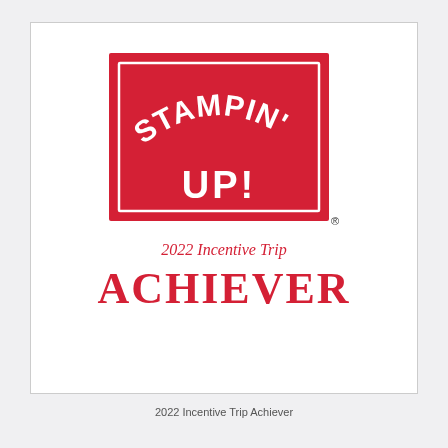[Figure (logo): Stampin' Up! logo — red rectangle with white text reading STAMPIN' UP! in arched bold lettering, white inner border rectangle, registered trademark symbol bottom right]
2022 Incentive Trip
ACHIEVER
2022 Incentive Trip Achiever